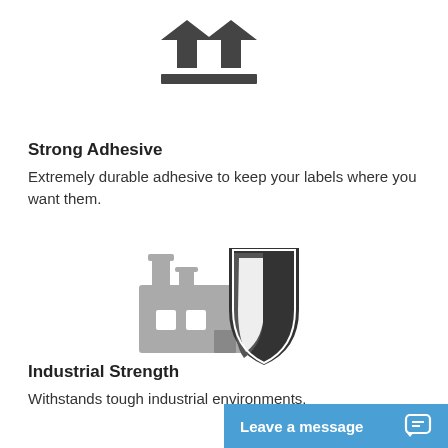[Figure (illustration): Up and down arrows icon above a horizontal bar, representing bidirectional transfer or import/export.]
Strong Adhesive
Extremely durable adhesive to keep your labels where you want them.
[Figure (illustration): Factory building icon overlaid with a security shield icon, representing industrial strength protection.]
Industrial Strength
Withstands tough industrial environments.
Leave a message